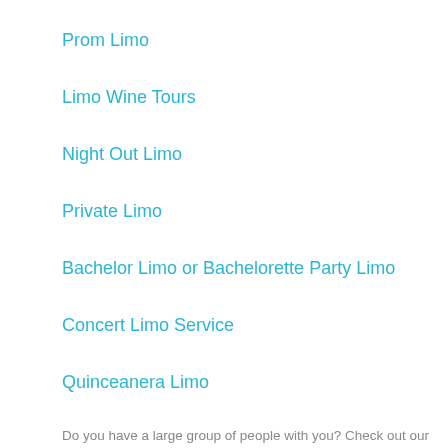Prom Limo
Limo Wine Tours
Night Out Limo
Private Limo
Bachelor Limo or Bachelorette Party Limo
Concert Limo Service
Quinceanera Limo
Do you have a large group of people with you? Check out our
Party Bus Los Angeles
Are you looking for a luxury ride to or from airports? There is our
Airport Limo Service